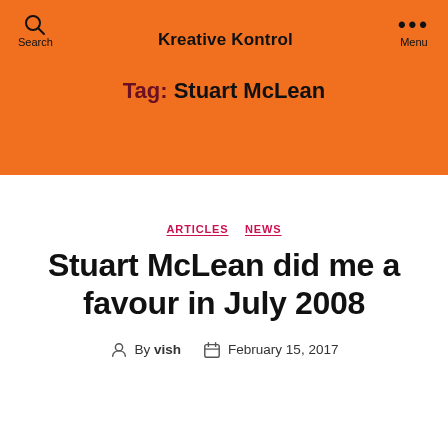Kreative Kontrol
Tag: Stuart McLean
ARTICLES  NEWS
Stuart McLean did me a favour in July 2008
By vish  February 15, 2017